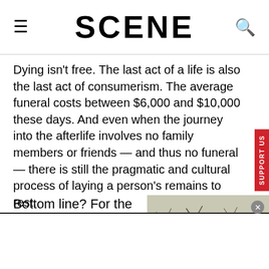SCENE
Dying isn't free. The last act of a life is also the last act of consumerism. The average funeral costs between $6,000 and $10,000 these days. And even when the journey into the afterlife involves no family members or friends — and thus no funeral — there is still the pragmatic and cultural process of laying a person's remains to rest.
Bottom line? For the poorest and most isolated among us, indigent burials clock in
[Figure (photo): Outdoor photo showing bare winter trees and a blue sign reading 'FOR THE GREATER GLORY OF GOD']